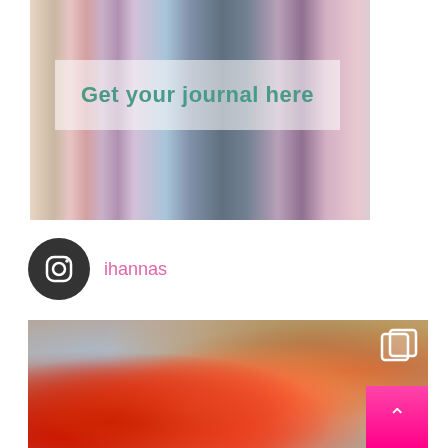[Figure (photo): Colorful paint-covered brushes or art tools arranged vertically with a semi-transparent white overlay banner reading 'Get your journal here' in teal bold text]
ihannas
[Figure (photo): Close-up photo of colorful yarn and fiber craft materials in red, pink, and orange tones on a woven background, with a multi-page icon in top right and a pink scroll-to-top button in bottom right]